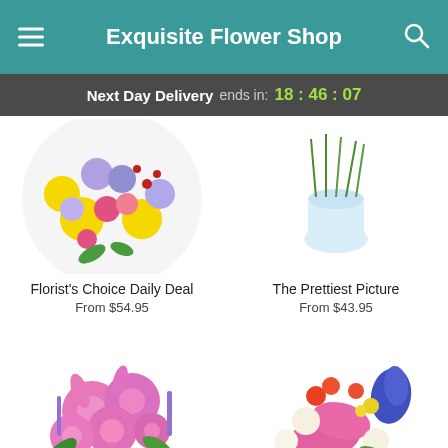Exquisite Flower Shop
Next Day Delivery ends in: 18 : 46 : 07
[Figure (photo): Florist's Choice Daily Deal flower bouquet with yellow, pink, and purple flowers in a circular arrangement]
[Figure (photo): The Prettiest Picture - a small glass vase with green stems]
Florist's Choice Daily Deal
From $54.95
The Prettiest Picture
From $43.95
[Figure (photo): Pink chrysanthemum bouquet in a round vase]
[Figure (photo): Colorful mixed flower bouquet with pink lilies, blue iris, and white alstroemeria in a white vase]